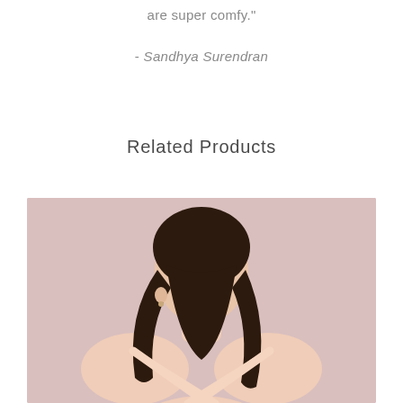are super comfy."
- Sandhya Surendran
Related Products
[Figure (photo): Back view of a woman with dark hair pulled back, wearing a nude/blush cross-back bralette or top, photographed against a soft pink background.]